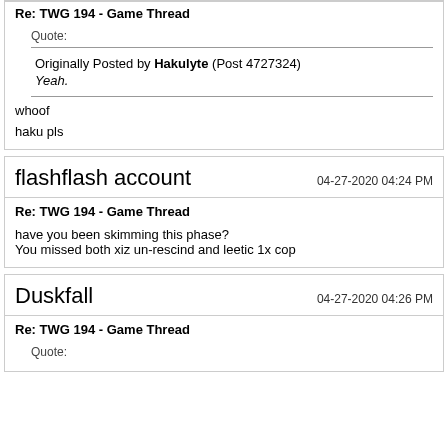Re: TWG 194 - Game Thread
Originally Posted by Hakulyte (Post 4727324)
Yeah.
whoof
haku pls
flashflash account
04-27-2020 04:24 PM
Re: TWG 194 - Game Thread
have you been skimming this phase?
You missed both xiz un-rescind and leetic 1x cop
Duskfall
04-27-2020 04:26 PM
Re: TWG 194 - Game Thread
Quote: